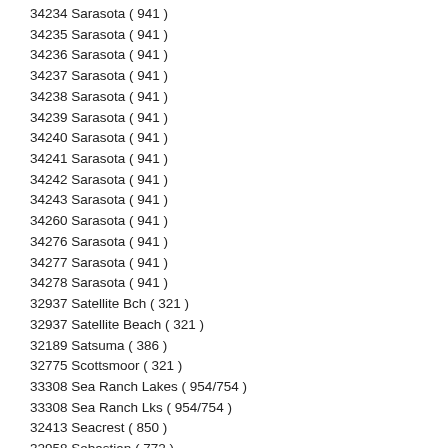34234 Sarasota ( 941 )
34235 Sarasota ( 941 )
34236 Sarasota ( 941 )
34237 Sarasota ( 941 )
34238 Sarasota ( 941 )
34239 Sarasota ( 941 )
34240 Sarasota ( 941 )
34241 Sarasota ( 941 )
34242 Sarasota ( 941 )
34243 Sarasota ( 941 )
34260 Sarasota ( 941 )
34276 Sarasota ( 941 )
34277 Sarasota ( 941 )
34278 Sarasota ( 941 )
32937 Satellite Bch ( 321 )
32937 Satellite Beach ( 321 )
32189 Satsuma ( 386 )
32775 Scottsmoor ( 321 )
33308 Sea Ranch Lakes ( 954/754 )
33308 Sea Ranch Lks ( 954/754 )
32413 Seacrest ( 850 )
32958 Sebastian ( 772 )
32976 Sebastian ( 321 )
32978 Sebastian ( 772 )
33870 Sebring ( 863 )
33871 Sebring ( 863 )
33872 Sebring ( 863 )